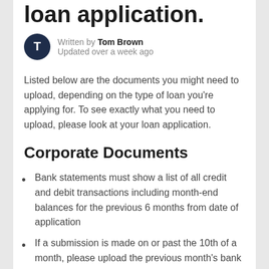loan application.
Written by Tom Brown
Updated over a week ago
Listed below are the documents you might need to upload, depending on the type of loan you're applying for. To see exactly what you need to upload, please look at your loan application.
Corporate Documents
Bank statements must show a list of all credit and debit transactions including month-end balances for the previous 6 months from date of application
If a submission is made on or past the 10th of a month, please upload the previous month's bank statements
Only company bank statements are accepted, except for sole proprietorship where we can accept personal bank statements